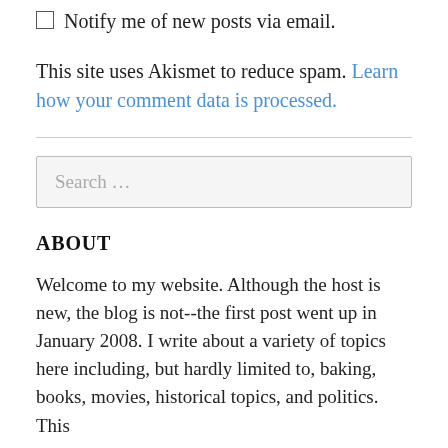Notify me of new posts via email.
This site uses Akismet to reduce spam. Learn how your comment data is processed.
Search ...
ABOUT
Welcome to my website. Although the host is new, the blog is not--the first post went up in January 2008. I write about a variety of topics here including, but hardly limited to, baking, books, movies, historical topics, and politics. This